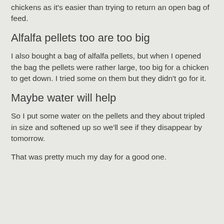chickens as it’s easier than trying to return an open bag of feed.
Alfalfa pellets too are too big
I also bought a bag of alfalfa pellets, but when I opened the bag the pellets were rather large, too big for a chicken to get down. I tried some on them but they didn’t go for it.
Maybe water will help
So I put some water on the pellets and they about tripled in size and softened up so we’ll see if they disappear by tomorrow.
That was pretty much my day for a good one.